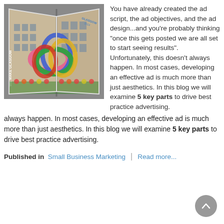[Figure (photo): A folded brochure/map showing a Glasgow street scene with colorful interlocking rings sculpture in front of a sandstone building, with 'WE MAKE GLASGOW' text visible]
You have already created the ad script, the ad objectives, and the ad design...and you're probably thinking "once this gets posted we are all set to start seeing results". Unfortunately, this doesn't always happen. In most cases, developing an effective ad is much more than just aesthetics. In this blog we will examine 5 key parts to drive best practice advertising.
Published in  Small Business Marketing  |  Read more...